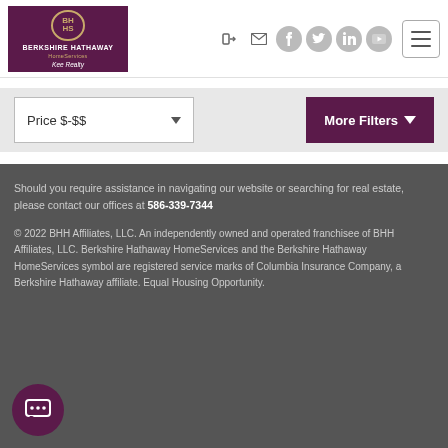[Figure (logo): Berkshire Hathaway HomeServices Kee Realty logo — dark purple rectangle with circular emblem and white/gold text]
[Figure (other): Social media and login icons: login arrow, mail envelope, Facebook, Twitter, LinkedIn, YouTube — all in gray circles; and a hamburger menu button]
Price $-$$
More Filters
Should you require assistance in navigating our website or searching for real estate, please contact our offices at 586-339-7344
© 2022 BHH Affiliates, LLC. An independently owned and operated franchisee of BHH Affiliates, LLC. Berkshire Hathaway HomeServices and the Berkshire Hathaway HomeServices symbol are registered service marks of Columbia Insurance Company, a Berkshire Hathaway affiliate. Equal Housing Opportunity.